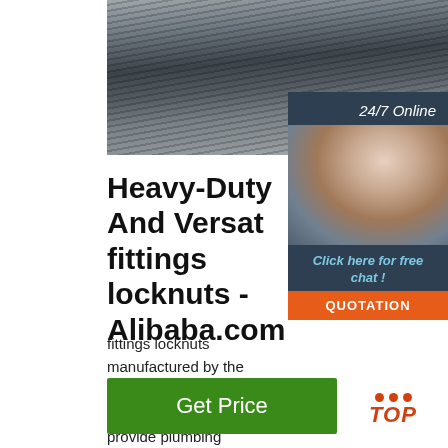[Figure (photo): Close-up photo of metallic surface with horizontal striations, likely showing steel or metal fittings/locknuts material]
[Figure (photo): 24/7 Online chat widget with photo of smiling woman wearing headset, dark blue background, with 'Click here for free chat!' text and orange QUOTATION button]
Heavy-Duty And Versatile fittings locknuts - Alibaba.com
fittings locknuts manufactured by the world giants in the plumbing industry to provide plumbing solutions. The. fittings locknuts of heavy-duty materials such as stainless steel, copper, PVC, brass, and black are engineered to make …
[Figure (logo): TOP button/logo with orange dots above and orange italic TOP text]
Get Price